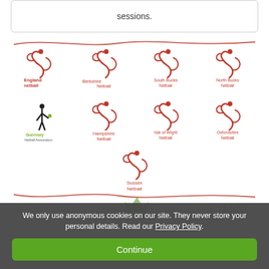sessions.
[Figure (logo): England Netball logo - red stylized figure with England netball text]
[Figure (logo): Berkshire Netball logo - red stylized figure with Berkshire Netball text]
[Figure (logo): South Bucks Netball logo - red stylized figure with South Bucks Netball text]
[Figure (logo): North Bucks Netball logo - red stylized figure with North Bucks Netball text]
[Figure (logo): Guernsey Netball Association logo - black figure with green and yellow text]
[Figure (logo): Hampshire Netball logo - red stylized figure with Hampshire Netball text]
[Figure (logo): Isle of Wight Netball logo - red stylized figure with Isle of Wight Netball text]
[Figure (logo): Oxfordshire Netball logo - red stylized figure with Oxfordshire Netball text]
[Figure (logo): Sussex Netball logo - red stylized figure with Sussex Netball text]
We only use anonymous cookies on our site. They never store your personal details. Read our Privacy Policy.
Continue